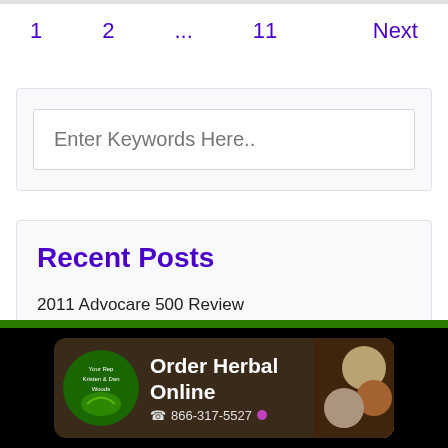1    2    ...    11    Next
Enter Keywords Here..
Recent Posts
2011 Advocare 500 Review
[Figure (infographic): Advertisement banner: Order Herbal Online, phone 866-317-5527, with green logo and food images on black background]